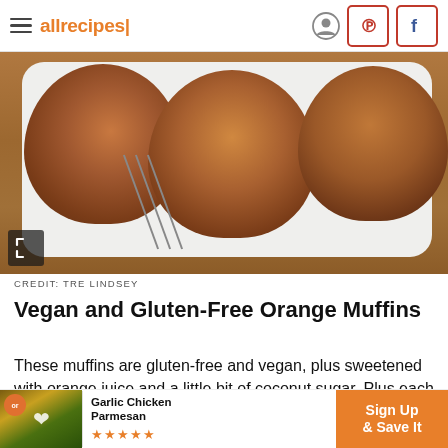allrecipes
[Figure (photo): Three large brown muffins on a white rectangular plate on a wooden surface. Dark diagonal lines on the plate. Photo credit: Tre Lindsey.]
CREDIT: TRE LINDSEY
Vegan and Gluten-Free Orange Muffins
These muffins are gluten-free and vegan, plus sweetened with orange juice and a little bit of coconut sugar. Plus each muffin is under 200 calories, leaving you w... some
[Figure (screenshot): Ad banner: Garlic Chicken Parmesan with Sign Up & Save It button in orange]